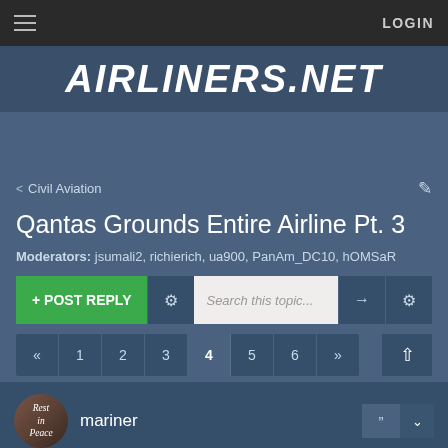≡   LOGIN
[Figure (logo): AIRLINERS.NET logo in white italic bold text on dark blue background]
< Civil Aviation
Qantas Grounds Entire Airline Pt. 3
Moderators: jsumali2, richierich, ua900, PanAm_DC10, hOMSaR
+ POST REPLY  [gear]  Search this topic...  [arrow]  [gear]
« 1 2 3 4 5 6 »
mariner